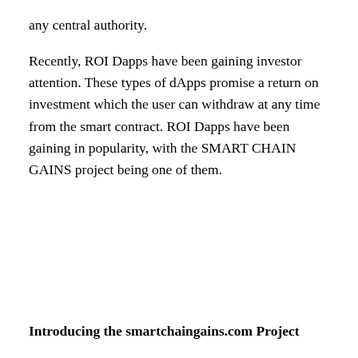any central authority.
Recently, ROI Dapps have been gaining investor attention. These types of dApps promise a return on investment which the user can withdraw at any time from the smart contract. ROI Dapps have been gaining in popularity, with the SMART CHAIN GAINS project being one of them.
Introducing the smartchaingains.com Project